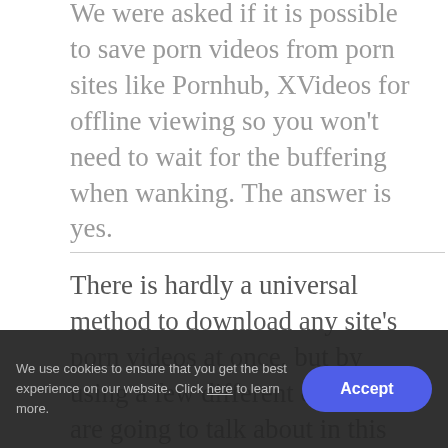We were asked if it is possible to save porn videos from porn sites like Pornhub, XVideos for offline viewing so you won't need to wait for the buffering when wanking. The answer is yes.
There is hardly a universal method to download any site's porn videos at once, but by using a few different options we are going to talk about in this post, you should be able to download almost any porn from any porn site.
[Figure (illustration): Orange-bordered banner image showing an illustrated figure with text 'Ultimate Guide to' in white italic font on a golden/olive background, with '709' and 'SCHEDULE A (Form 709)' and 'SCHEDULE B' text elements visible]
We use cookies to ensure that you get the best experience on our website. Click here to learn more.